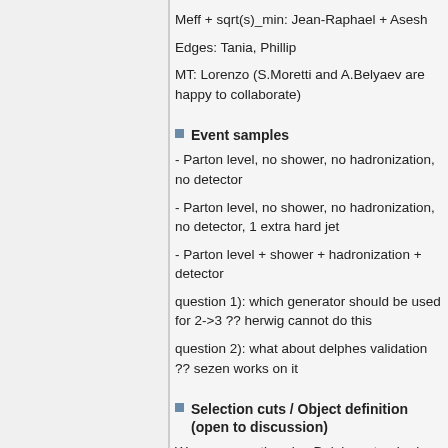Meff + sqrt(s)_min: Jean-Raphael + Asesh
Edges: Tania, Phillip
MT: Lorenzo (S.Moretti and A.Belyaev are happy to collaborate)
Event samples
- Parton level, no shower, no hadronization, no detector
- Parton level, no shower, no hadronization, no detector, 1 extra hard jet
- Parton level + shower + hadronization + detector
question 1): which generator should be used for 2->3 ?? herwig cannot do this
question 2): what about delphes validation ?? sezen works on it
Selection cuts / Object definition (open to discussion)
We are currently using Delphes standard cuts